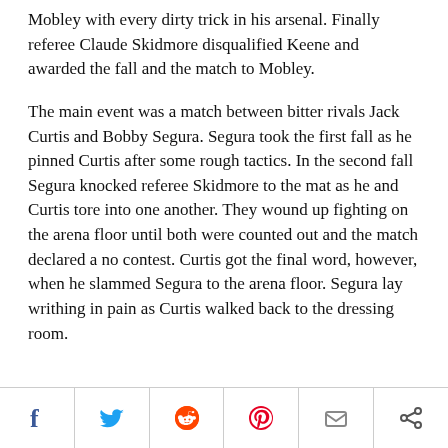Mobley with every dirty trick in his arsenal. Finally referee Claude Skidmore disqualified Keene and awarded the fall and the match to Mobley.
The main event was a match between bitter rivals Jack Curtis and Bobby Segura. Segura took the first fall as he pinned Curtis after some rough tactics. In the second fall Segura knocked referee Skidmore to the mat as he and Curtis tore into one another. They wound up fighting on the arena floor until both were counted out and the match declared a no contest. Curtis got the final word, however, when he slammed Segura to the arena floor. Segura lay writhing in pain as Curtis walked back to the dressing room.
[social share buttons: Facebook, Twitter, Reddit, Pinterest, Email, Share]